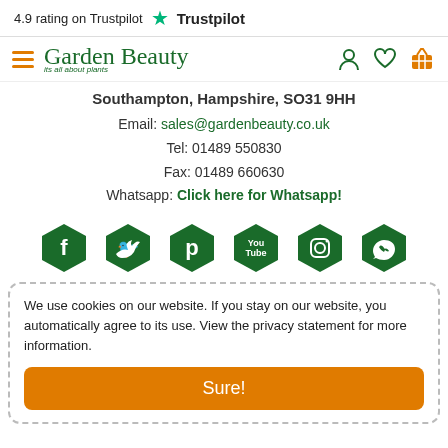4.9 rating on Trustpilot  ★  Trustpilot
[Figure (logo): Garden Beauty logo with tagline 'its all about plants', hamburger menu, user icon, heart icon, and basket icon navigation bar]
Southampton, Hampshire, SO31 9HH
Email: sales@gardenbeauty.co.uk
Tel: 01489 550830
Fax: 01489 660630
Whatsapp: Click here for Whatsapp!
[Figure (infographic): Six dark green hexagonal social media icons: Facebook, Twitter, Pinterest, YouTube, Instagram, WhatsApp]
We use cookies on our website. If you stay on our website, you automatically agree to its use. View the privacy statement for more information.
Sure!